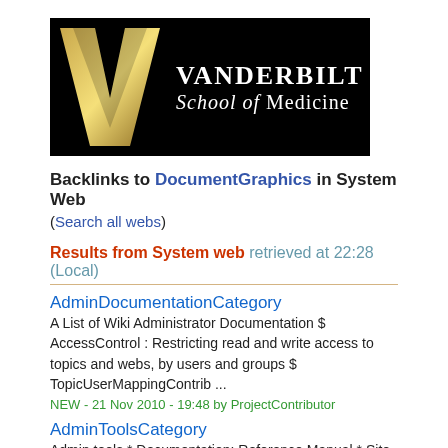[Figure (logo): Vanderbilt School of Medicine logo: black banner with gold V and white text]
Backlinks to DocumentGraphics in System Web
(Search all webs)
Results from System web retrieved at 22:28 (Local)
AdminDocumentationCategory
A List of Wiki Administrator Documentation $ AccessControl : Restricting read and write access to topics and webs, by users and groups $ TopicUserMappingContrib ...
NEW - 21 Nov 2010 - 19:48 by ProjectContributor
AdminToolsCategory
Admin tools * Documentation: Reference Manual * Site Tools : Configure, , InterWikis, Macros, Doc Graphics, Installed Plugins report * Manage Users ...
NEW - 25 Aug 2010 - 06:16 by ProjectContributor